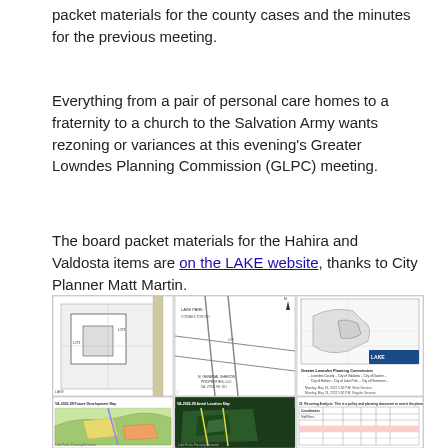packet materials for the county cases and the minutes for the previous meeting.
Everything from a pair of personal care homes to a fraternity to a church to the Salvation Army wants rezoning or variances at this evening's Greater Lowndes Planning Commission (GLPC) meeting.
The board packet materials for the Hahira and Valdosta items are on the LAKE website, thanks to City Planner Matt Martin.
[Figure (screenshot): Screenshot of planning commission document pages including site maps, aerial location maps, future development maps, satellite imagery, and a Greater Lowndes Planning Commission meeting agenda table with the Lowndes Area Knowledge Exchange logo visible.]